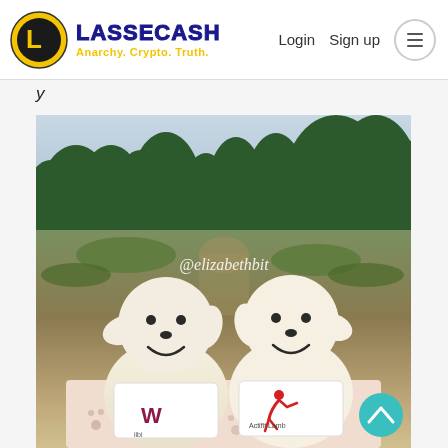LASSECASH Anarchy. Crypto. Truth. | Login | Sign up
y...
[Figure (photo): Two white lamb plush toys wearing white t-shirts with logos (Wiibi and Actifit Lamb), sitting outdoors on a blanket in front of a forest of evergreen trees. Watermark text @elizabethbit overlaid on the image. A teal scroll-up button is visible in the bottom right of the photo.]